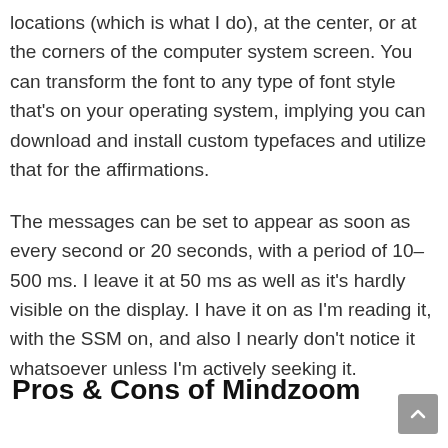locations (which is what I do), at the center, or at the corners of the computer system screen. You can transform the font to any type of font style that's on your operating system, implying you can download and install custom typefaces and utilize that for the affirmations.
The messages can be set to appear as soon as every second or 20 seconds, with a period of 10– 500 ms. I leave it at 50 ms as well as it's hardly visible on the display. I have it on as I'm reading it, with the SSM on, and also I nearly don't notice it whatsoever unless I'm actively seeking it.
Pros & Cons of Mindzoom